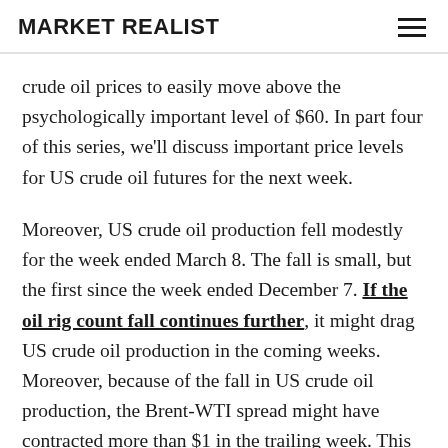MARKET REALIST
crude oil prices to easily move above the psychologically important level of $60. In part four of this series, we'll discuss important price levels for US crude oil futures for the next week.
Moreover, US crude oil production fell modestly for the week ended March 8. The fall is small, but the first since the week ended December 7. If the oil rig count fall continues further, it might drag US crude oil production in the coming weeks. Moreover, because of the fall in US crude oil production, the Brent-WTI spread might have contracted more than $1 in the trailing week. This might limit US crude oil exports, which could increase global oil